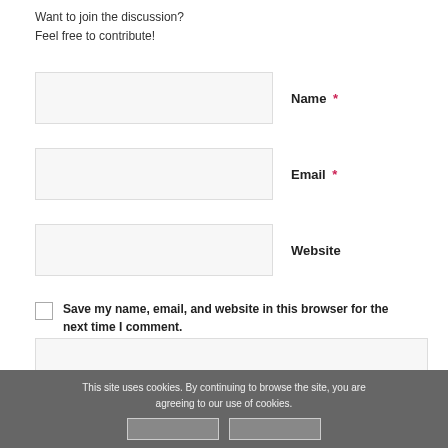Want to join the discussion?
Feel free to contribute!
Name *
Email *
Website
Save my name, email, and website in this browser for the next time I comment.
This site uses cookies. By continuing to browse the site, you are agreeing to our use of cookies.